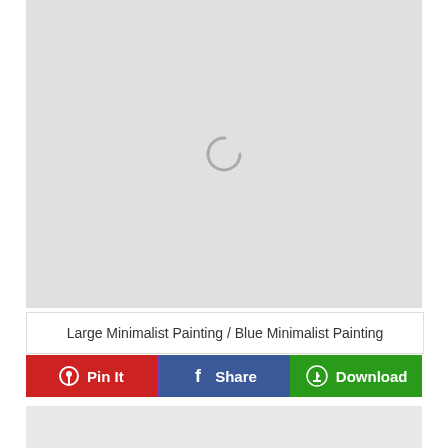[Figure (illustration): Large gray placeholder area with a loading spinner icon in the center]
Large Minimalist Painting / Blue Minimalist Painting
[Figure (other): Row of three action buttons: Pin It (red), Share (blue), Download (green)]
[Figure (other): Gray placeholder area at bottom of page]